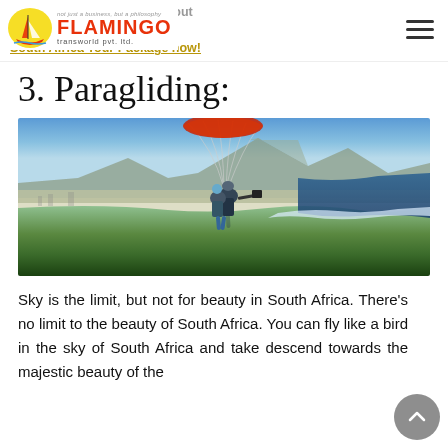Flamingo Transworld Pvt. Ltd. — navigation header with logo
the world. It is going to be an out experience for you! So, book South Africa Tour Package now!
3. Paragliding:
[Figure (photo): Two people paragliding tandem over Cape Town, South Africa, with coastline, ocean, city and Table Mountain visible below. Aerial view from wide-angle lens.]
Sky is the limit, but not for beauty in South Africa. There's no limit to the beauty of South Africa. You can fly like a bird in the sky of South Africa and take descend towards the majestic beauty of the